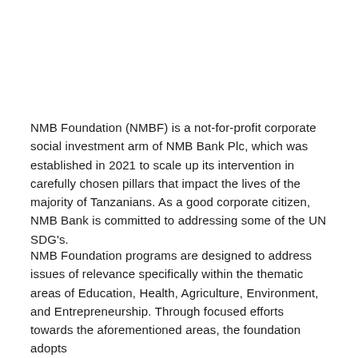NMB Foundation (NMBF) is a not-for-profit corporate social investment arm of NMB Bank Plc, which was established in 2021 to scale up its intervention in carefully chosen pillars that impact the lives of the majority of Tanzanians. As a good corporate citizen, NMB Bank is committed to addressing some of the UN SDG's.
NMB Foundation programs are designed to address issues of relevance specifically within the thematic areas of Education, Health, Agriculture, Environment, and Entrepreneurship. Through focused efforts towards the aforementioned areas, the foundation adopts...